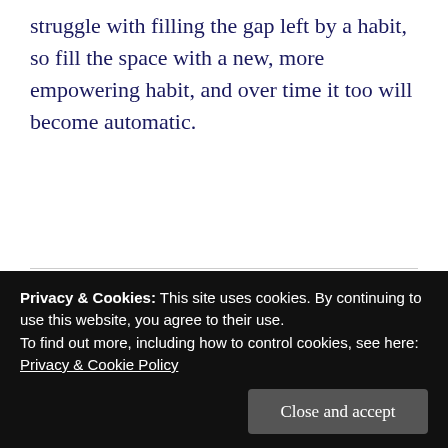struggle with filling the gap left by a habit, so fill the space with a new, more empowering habit, and over time it too will become automatic.
[Figure (other): Green banner image with bold black text reading 'MOTIVATION REQUIRES...']
Privacy & Cookies: This site uses cookies. By continuing to use this website, you agree to their use.
To find out more, including how to control cookies, see here: Privacy & Cookie Policy
Close and accept